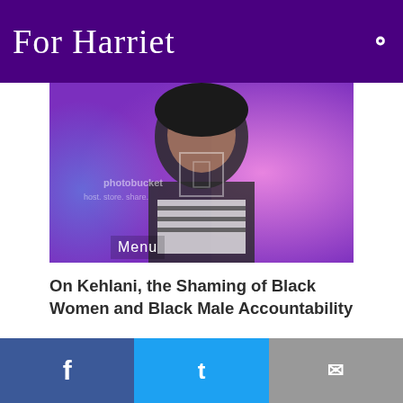For Harriet
[Figure (photo): Woman with tattoos, dark hair, wearing striped top, smiling, colorful blurred background, with a 'Menu' overlay label and photobucket watermark]
On Kehlani, the Shaming of Black Women and Black Male Accountability
[Figure (photo): Black and white portrait of a young black woman with hair blowing, looking pensive]
Facebook | Twitter | Email share icons